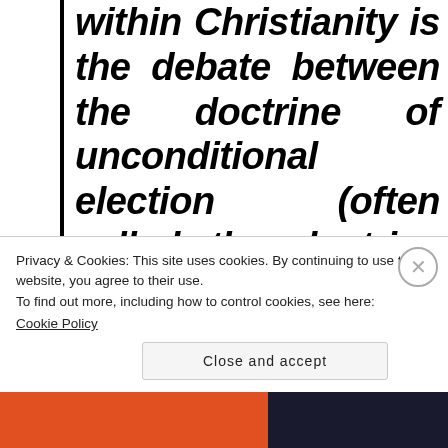within Christianity is the debate between the doctrine of unconditional election (often called the doctrine of predestination) and the doctrine of unconditional election (often represented as the doctrine of free will).
Privacy & Cookies: This site uses cookies. By continuing to use this website, you agree to their use.
To find out more, including how to control cookies, see here:
Cookie Policy
Close and accept